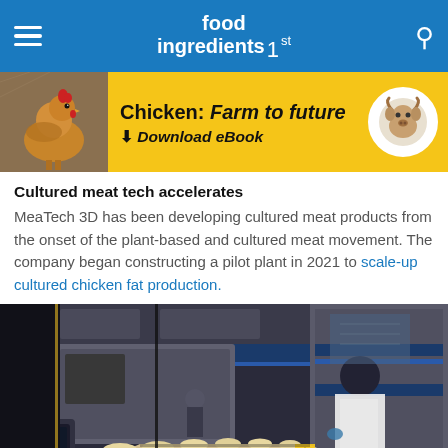food ingredients 1st
[Figure (illustration): Yellow promotional banner with a chicken photo on the left, bold black text 'Chicken: Farm to future / Download eBook' in center, and a circular BENEO bull logo on the right]
Cultured meat tech accelerates
MeaTech 3D has been developing cultured meat products from the onset of the plant-based and cultured meat movement. The company began constructing a pilot plant in 2021 to scale-up cultured chicken fat production.
[Figure (photo): Interior of a food manufacturing pilot plant facility showing a conveyor belt with food items in foreground, industrial machinery in background, and workers in white aprons and gloves.]